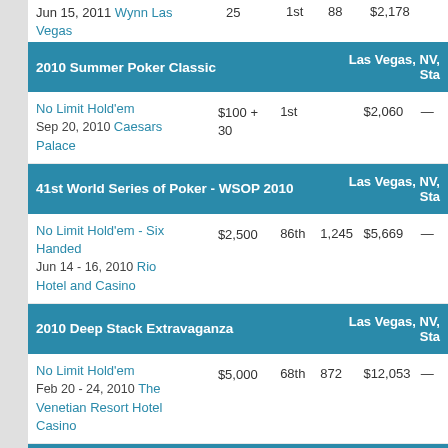Jun 15, 2011 Wynn Las Vegas | 25 | 1st | 88 | $2,178
2010 Summer Poker Classic | Las Vegas, NV, Sta...
No Limit Hold'em Sep 20, 2010 Caesars Palace | $100 + 30 | 1st | — | $2,060 | —
41st World Series of Poker - WSOP 2010 | Las Vegas, NV, Sta...
No Limit Hold'em - Six Handed Jun 14 - 16, 2010 Rio Hotel and Casino | $2,500 | 86th | 1,245 | $5,669 | —
2010 Deep Stack Extravaganza | Las Vegas, NV, Sta...
No Limit Hold'em Feb 20 - 24, 2010 The Venetian Resort Hotel Casino | $5,000 | 68th | 872 | $12,053 | —
Bellagio Weekly Tournaments - Jul 2008 | Las Vegas, NV, Sta...